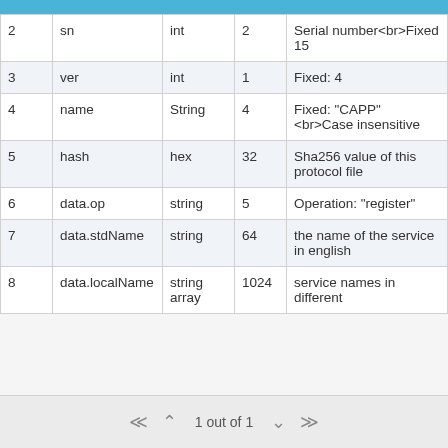| 2 | sn | int | 2 | Serial number<br>Fixed 15 |
| 3 | ver | int | 1 | Fixed: 4 |
| 4 | name | String | 4 | Fixed: "CAPP" <br>Case insensitive |
| 5 | hash | hex | 32 | Sha256 value of this protocol file |
| 6 | data.op | string | 5 | Operation: "register" |
| 7 | data.stdName | string | 64 | the name of the service in english |
| 8 | data.localName | string array | 1024 | service names in different |
1 out of 1